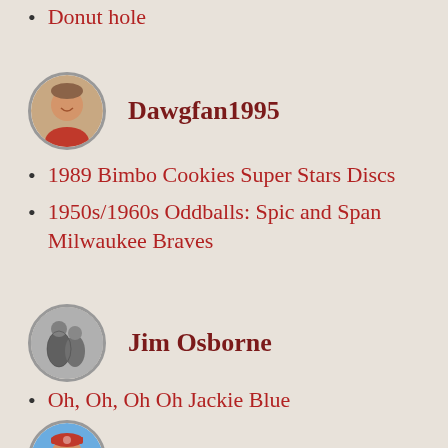Donut hole
[Figure (photo): Circular avatar photo of Dawgfan1995, a man smiling outdoors]
Dawgfan1995
1989 Bimbo Cookies Super Stars Discs
1950s/1960s Oddballs: Spic and Span Milwaukee Braves
[Figure (photo): Circular avatar photo of Jim Osborne, black and white image of people]
Jim Osborne
Oh, Oh, Oh Oh Jackie Blue
Topps 1968 Die Cut Dandies!
[Figure (photo): Circular avatar photo of Pete Scribner, a man in a blue baseball jersey with a Cardinals cap]
Pete Scribner